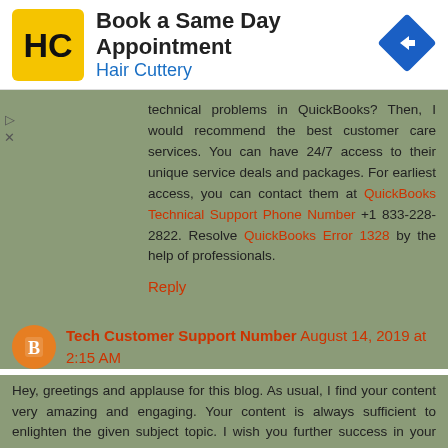[Figure (infographic): Advertisement banner for Hair Cuttery: Book a Same Day Appointment, with Hair Cuttery logo (HC in black and yellow circle), navigation arrow icon on the right, and ad controls (play/close) on the left.]
technical problems in QuickBooks? Then, I would recommend the best customer care services. You can have 24/7 access to their unique service deals and packages. For earliest access, you can contact them at QuickBooks Technical Support Phone Number +1 833-228-2822. Resolve QuickBooks Error 1328 by the help of professionals.
Reply
Tech Customer Support Number August 14, 2019 at 2:15 AM
Hey, greetings and applause for this blog. As usual, I find your content very amazing and engaging. Your content is always sufficient to enlighten the given subject topic. I wish you further success in your efforts. If you get stuck in the technical problems in QuickBooks? Then, I would